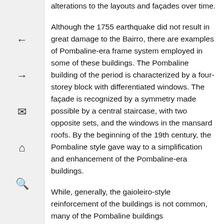alterations to the layouts and façades over time.
Although the 1755 earthquake did not result in great damage to the Bairro, there are examples of Pombaline-era frame system employed in some of these buildings. The Pombaline building of the period is characterized by a four-storey block with differentiated windows. The façade is recognized by a symmetry made possible by a central staircase, with two opposite sets, and the windows in the mansard roofs. By the beginning of the 19th century, the Pombaline style gave way to a simplification and enhancement of the Pombaline-era buildings.
While, generally, the gaioleiro-style reinforcement of the buildings is not common, many of the Pombaline buildings
[Figure (other): Navigation sidebar with back arrow, forward arrow, envelope/mail icon, home icon, and search/magnifier icon]